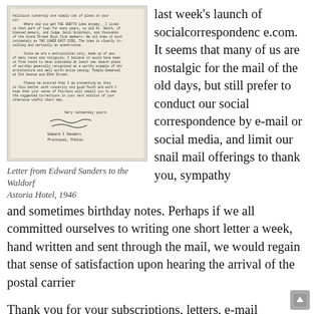[Figure (photo): Scanned image of a typewritten letter from Edward Sanders to the Waldorf Astoria Hotel, 1946, with handwritten signature 'Very sincerely yours, Edward I Sanders, Principal, Public'.]
Letter from Edward Sanders to the Waldorf Astoria Hotel, 1946
last week's launch of socialcorrespondence.com. It seems that many of us are nostalgic for the mail of the old days, but still prefer to conduct our social correspondence by e-mail or social media, and limit our snail mail offerings to thank you, sympathy and sometimes birthday notes. Perhaps if we all committed ourselves to writing one short letter a week, hand written and sent through the mail, we would regain that sense of satisfaction upon hearing the arrival of the postal carrier
Thank you for your subscriptions, letters, e-mail messages of support, visits to the site and posted comments! Here is a brief sampling of letters received,